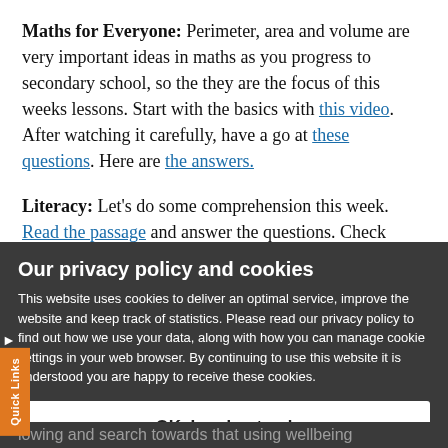Maths for Everyone: Perimeter, area and volume are very important ideas in maths as you progress to secondary school, so the they are the focus of this weeks lessons. Start with the basics with this video. After watching it carefully, have a go at these questions. Here are the answers.
Literacy: Let's do some comprehension this week. Read the passage and answer the questions. Check
Our privacy policy and cookies
This website uses cookies to deliver an optimal service, improve the website and keep track of statistics. Please read our privacy policy to find out how we use your data, along with how you can manage cookie settings in your web browser. By continuing to use this website it is understood you are happy to receive these cookies.
OK, I understand
Privacy Policy
Help with cookies
…lowing and search towards that using wellbeing…